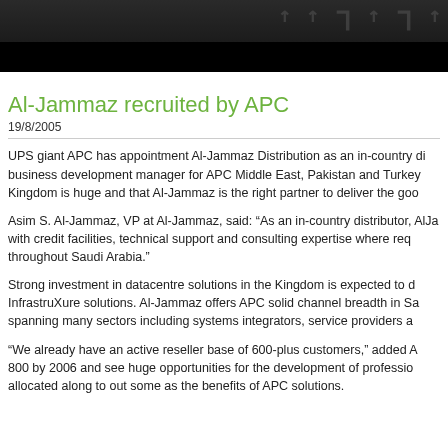[Figure (photo): Dark header image with decorative text overlay, dark background with faded lettering]
Al-Jammaz recruited by APC
19/8/2005
UPS giant APC has appointment Al-Jammaz Distribution as an in-country di business development manager for APC Middle East, Pakistan and Turkey Kingdom is huge and that Al-Jammaz is the right partner to deliver the goo
Asim S. Al-Jammaz, VP at Al-Jammaz, said: “As an in-country distributor, Alja with credit facilities, technical support and consulting expertise where req throughout Saudi Arabia.”
Strong investment in datacentre solutions in the Kingdom is expected to d InfrastruXure solutions. Al-Jammaz offers APC solid channel breadth in Sa spanning many sectors including systems integrators, service providers a
“We already have an active reseller base of 600-plus customers,” added A 800 by 2006 and see huge opportunities for the development of professio allocated along to out some as the benefits of APC solutions.